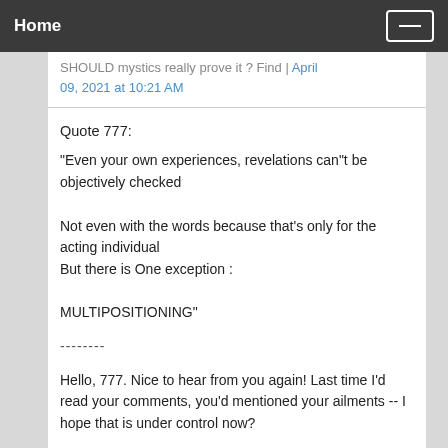Home
SHOULD mystics really prove it ? Find | April 09, 2021 at 10:21 AM
Quote 777:

"Even your own experiences, revelations can"t be objectively checked

Not even with the words because that's only for the acting individual
But there is One exception :

MULTIPOSITIONING"
--------
Hello, 777. Nice to hear from you again! Last time I'd read your comments, you'd mentioned your ailments -- I hope that is under control now?